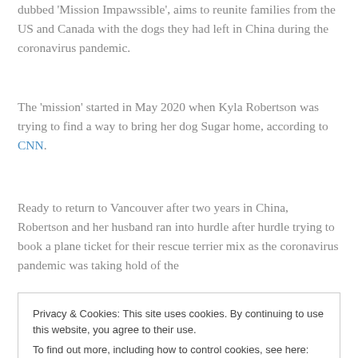dubbed 'Mission Impawssible', aims to reunite families from the US and Canada with the dogs they had left in China during the coronavirus pandemic.
The 'mission' started in May 2020 when Kyla Robertson was trying to find a way to bring her dog Sugar home, according to CNN.
Ready to return to Vancouver after two years in China, Robertson and her husband ran into hurdle after hurdle trying to book a plane ticket for their rescue terrier mix as the coronavirus pandemic was taking hold of the
Privacy & Cookies: This site uses cookies. By continuing to use this website, you agree to their use.
To find out more, including how to control cookies, see here: Cookie Policy
Close and accept
ate. Other owners were mostly from cities throughout